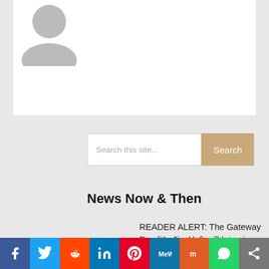[Figure (illustration): Gray avatar/profile silhouette placeholder image in top-left of white card area]
Search this site...
Search
News Now & Then
READER ALERT: The Gateway Pundit's Jim Hoft will Interview Robert Kennedy, Jr. Tuesday at 4:30 PM Central — YOU WON'T
[Figure (infographic): Social media sharing bar with icons for Facebook, Twitter, Reddit, LinkedIn, Pinterest, MeWe, Mix, WhatsApp, and Share]